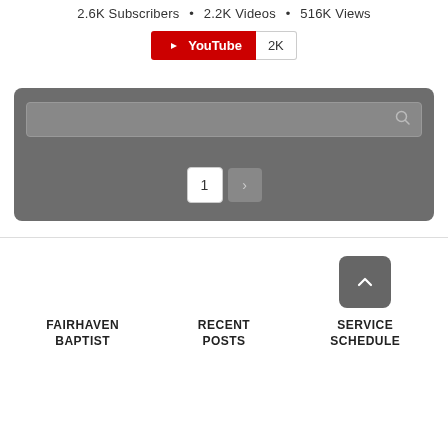2.6K Subscribers • 2.2K Videos • 516K Views
[Figure (screenshot): YouTube subscribe button showing '2K' count]
[Figure (screenshot): Gray search bar with search icon, and pagination showing page 1 with next arrow button]
FAIRHAVEN BAPTIST
RECENT POSTS
SERVICE SCHEDULE